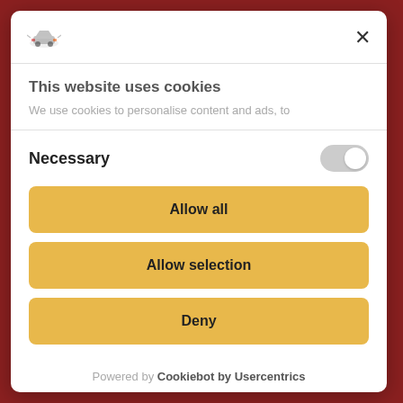[Figure (screenshot): Cookie consent modal dialog on a dark red website background. The modal is white with rounded corners and contains a logo, close button, cookie notice text, necessary toggle, and three yellow buttons: Allow all, Allow selection, Deny. Footer shows Powered by Cookiebot by Usercentrics.]
This website uses cookies
We use cookies to personalise content and ads, to
Necessary
Allow all
Allow selection
Deny
Powered by Cookiebot by Usercentrics